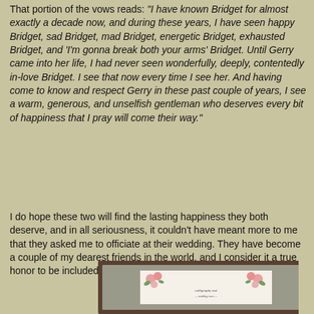That portion of the vows reads: "I have known Bridget for almost exactly a decade now, and during these years, I have seen happy Bridget, sad Bridget, mad Bridget, energetic Bridget, exhausted Bridget, and 'I'm gonna break both your arms' Bridget. Until Gerry came into her life, I had never seen wonderfully, deeply, contentedly in-love Bridget. I see that now every time I see her. And having come to know and respect Gerry in these past couple of years, I see a warm, generous, and unselfish gentleman who deserves every bit of happiness that I pray will come their way."
I do hope these two will find the lasting happiness they both deserve, and in all seriousness, it couldn't have meant more to me that they asked me to officiate at their wedding. They have become a couple of my dearest friends in the world, and I consider it a true honor to be included in their celebration.
[Figure (photo): A framed picture with a decorative border showing roses and calligraphy text, in a dark brown frame with a grey mat.]